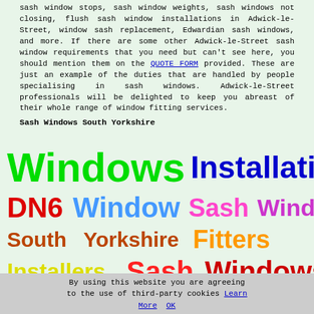sash window stops, sash window weights, sash windows not closing, flush sash window installations in Adwick-le-Street, window sash replacement, Edwardian sash windows, and more. If there are some other Adwick-le-Street sash window requirements that you need but can't see here, you should mention them on the QUOTE FORM provided. These are just an example of the duties that are handled by people specialising in sash windows. Adwick-le-Street professionals will be delighted to keep you abreast of their whole range of window fitting services.
Sash Windows South Yorkshire
[Figure (infographic): Colorful keyword word-cloud style display with large bold text: 'Windows Installation' in green and blue, 'DN6 Window Sash Window' in red, light blue, pink, and purple, 'South Yorkshire Fitters' in brown and orange, 'Installers Sash Windows' in yellow, red, and dark red.]
By using this website you are agreeing to the use of third-party cookies Learn More OK